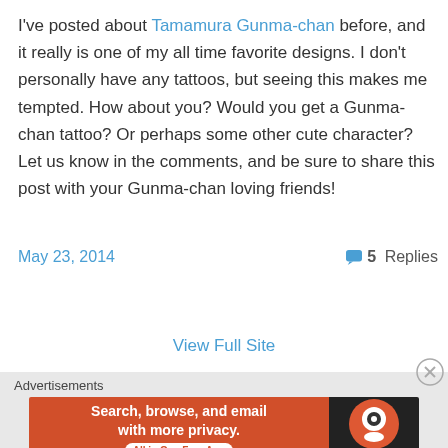I've posted about Tamamura Gunma-chan before, and it really is one of my all time favorite designs. I don't personally have any tattoos, but seeing this makes me tempted. How about you? Would you get a Gunma-chan tattoo? Or perhaps some other cute character? Let us know in the comments, and be sure to share this post with your Gunma-chan loving friends!
May 23, 2014   5 Replies
View Full Site
Advertisements
[Figure (screenshot): DuckDuckGo advertisement banner: orange left side with text 'Search, browse, and email with more privacy. All in One Free App' and dark right side with DuckDuckGo logo]